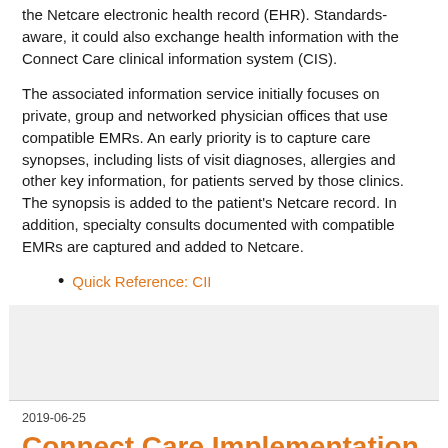the Netcare electronic health record (EHR). Standards-aware, it could also exchange health information with the Connect Care clinical information system (CIS).
The associated information service initially focuses on private, group and networked physician offices that use compatible EMRs. An early priority is to capture care synopses, including lists of visit diagnoses, allergies and other key information, for patients served by those clinics. The synopsis is added to the patient's Netcare record. In addition, specialty consults documented with compatible EMRs are captured and added to Netcare.
Quick Reference: CII
2019-06-25
Connect Care Implementation Timeline Tweaks